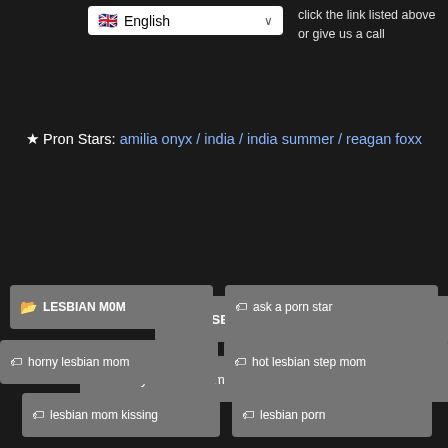click the link listed above or give us a call
★ Pron Stars: amilia onyx / india / india summer / reagan foxx
LESBIAN M0M
ask a porn star
horny lesbian mom
hot lesbian step mom
lesbian mom kissing
lesbian porn
lesbian short films
naked lesbian mom
porn star
son in law - lesbian make out scene
step mom
xnxxmom